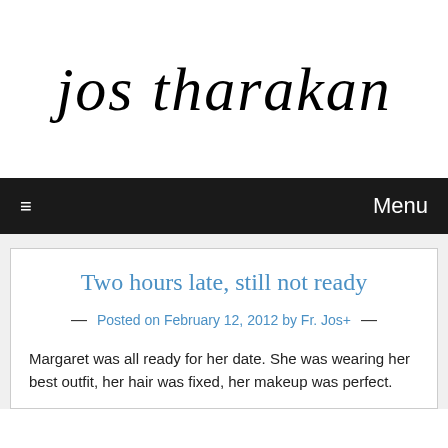jos tharakan
≡  Menu
Two hours late, still not ready
— Posted on February 12, 2012 by Fr. Jos+ —
Margaret was all ready for her date. She was wearing her best outfit, her hair was fixed, her makeup was perfect.